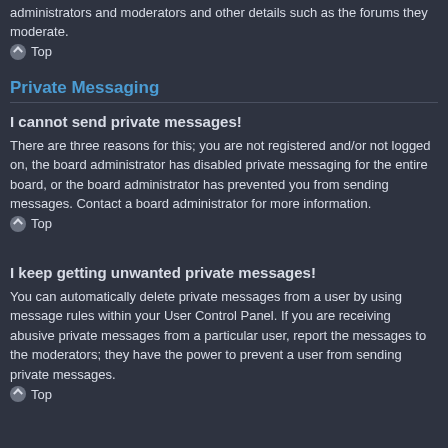administrators and moderators and other details such as the forums they moderate.
⌃ Top
Private Messaging
I cannot send private messages!
There are three reasons for this; you are not registered and/or not logged on, the board administrator has disabled private messaging for the entire board, or the board administrator has prevented you from sending messages. Contact a board administrator for more information.
⌃ Top
I keep getting unwanted private messages!
You can automatically delete private messages from a user by using message rules within your User Control Panel. If you are receiving abusive private messages from a particular user, report the messages to the moderators; they have the power to prevent a user from sending private messages.
⌃ Top